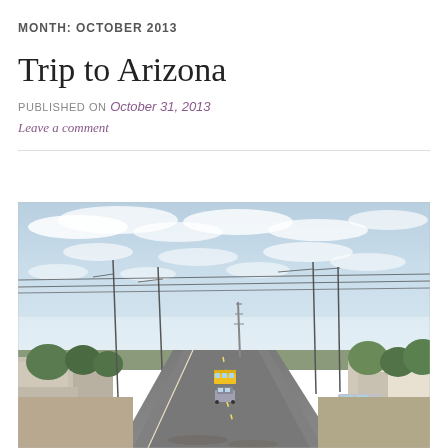MONTH: OCTOBER 2013
Trip to Arizona
PUBLISHED ON October 31, 2013
Leave a comment
[Figure (photo): Street-level view of a small Arizona town. A two-lane road stretches into the distance with utility poles on both sides, a school bus and cars visible in the road, small commercial and residential buildings along the sides, trees, and a partly cloudy sky.]